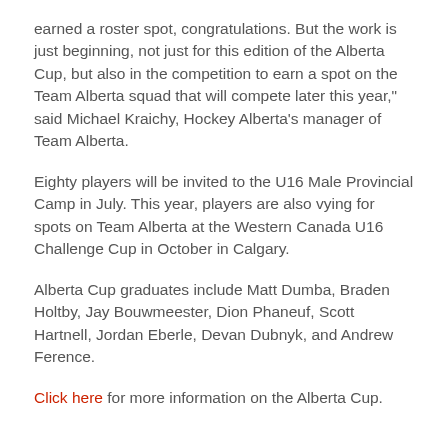earned a roster spot, congratulations. But the work is just beginning, not just for this edition of the Alberta Cup, but also in the competition to earn a spot on the Team Alberta squad that will compete later this year," said Michael Kraichy, Hockey Alberta's manager of Team Alberta.
Eighty players will be invited to the U16 Male Provincial Camp in July. This year, players are also vying for spots on Team Alberta at the Western Canada U16 Challenge Cup in October in Calgary.
Alberta Cup graduates include Matt Dumba, Braden Holtby, Jay Bouwmeester, Dion Phaneuf, Scott Hartnell, Jordan Eberle, Devan Dubnyk, and Andrew Ference.
Click here for more information on the Alberta Cup.